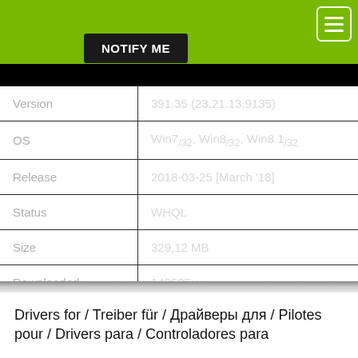[Figure (screenshot): NVIDIA driver download page top banner with green background, NOTIFY ME button, and hamburger menu icon in top-right corner]
|  |  |
| --- | --- |
| Version | 391.35 (23.21.13.9135) |
| OS | Win7/32, Win8/32, Win8.1/32 |
| Release | 2018-03-25 [March '18] |
| Status | WHQL |
| Size | 329,12 MB |
| Downloaded | 143685× |
Drivers for / Treiber für / Драйверы для / Pilotes pour / Drivers para / Controladores para
Driver File name 391.35-desktop-win8-win7-32bit-international-whql.exe
Intended for your PC desktop and Windows 7 (32bit), Windows 8 (32bit), Windows 8.1 (32bit) and: